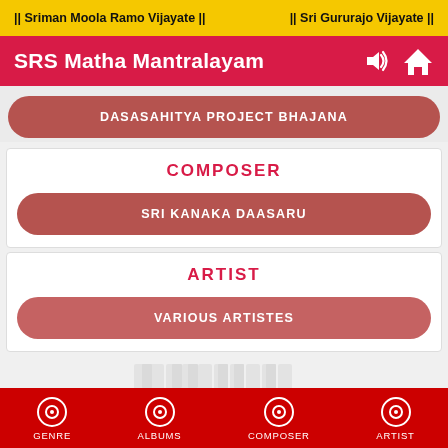|| Sriman Moola Ramo Vijayate ||     || Sri Gururajo Vijayate ||
SRS Matha Mantralayam
DASASAHITYA PROJECT BHAJANA
COMPOSER
SRI KANAKA DAASARU
ARTIST
VARIOUS ARTISTES
GENRE    ALBUMS    COMPOSER    ARTIST